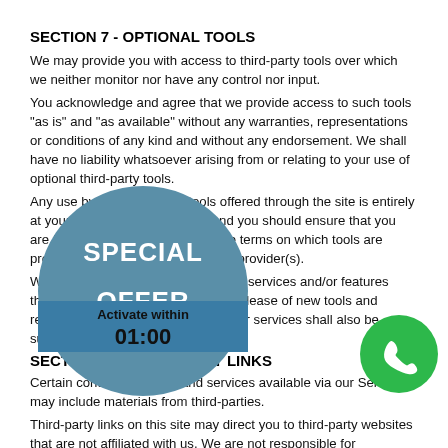SECTION 7 - OPTIONAL TOOLS
We may provide you with access to third-party tools over which we neither monitor nor have any control nor input.
You acknowledge and agree that we provide access to such tools "as is" and "as available" without any warranties, representations or conditions of any kind and without any endorsement. We shall have no liability whatsoever arising from or relating to your use of optional third-party tools.
Any use by you of optional tools offered through the site is entirely at your own risk and discretion and you should ensure that you are familiar with and approve of the terms on which tools are provided by the relevant third-party provider(s).
We may also, in the future, offer new services and/or features through the website (including, the release of new tools and resources). Such new features and/or services shall also be subject to these Terms of Service.
SECTION 8 - THIRD-PARTY LINKS
Certain content, products and services available via our Service may include materials from third-parties.
Third-party links on this site may direct you to third-party websites that are not affiliated with us. We are not responsible for examining or evaluating the content or accuracy and we do not warrant and will not